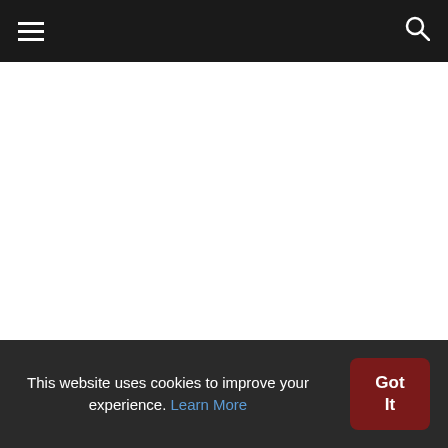≡  🔍
[Figure (other): White empty content area, likely an image placeholder for an article about Indian space enthusiast finds Vikram lander debris on moon: NASA]
Thank you for reading the news about Indian space enthusiast finds Vikram lander debris on moon: NASA and now with the
This website uses cookies to improve your experience. Learn More
Got It